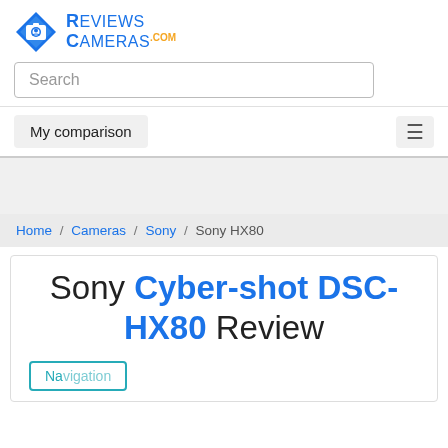[Figure (logo): ReviewsCameras.com logo with blue diamond camera icon and blue text 'REVIEWS CAMERAS' with orange '.COM']
Search
My comparison
Home / Cameras / Sony / Sony HX80
Sony Cyber-shot DSC-HX80 Review